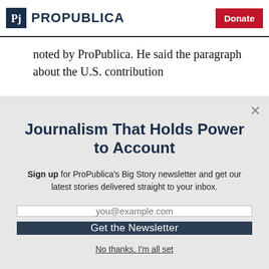ProPublica | Donate
noted by ProPublica. He said the paragraph about the U.S. contribution
Journalism That Holds Power to Account
Sign up for ProPublica's Big Story newsletter and get our latest stories delivered straight to your inbox.
you@example.com
Get the Newsletter
No thanks, I'm all set
This site is protected by reCAPTCHA and the Google Privacy Policy and Terms of Service apply.